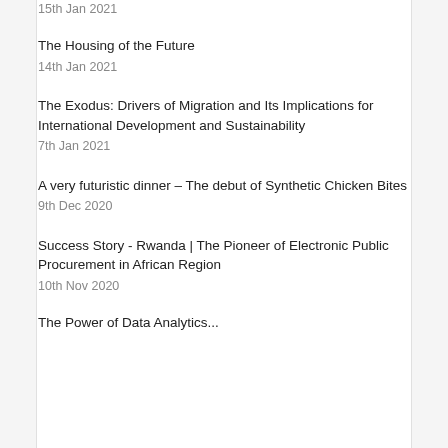15th Jan 2021
The Housing of the Future
14th Jan 2021
The Exodus: Drivers of Migration and Its Implications for International Development and Sustainability
7th Jan 2021
A very futuristic dinner – The debut of Synthetic Chicken Bites
9th Dec 2020
Success Story - Rwanda | The Pioneer of Electronic Public Procurement in African Region
10th Nov 2020
The Power of Data Analytics...